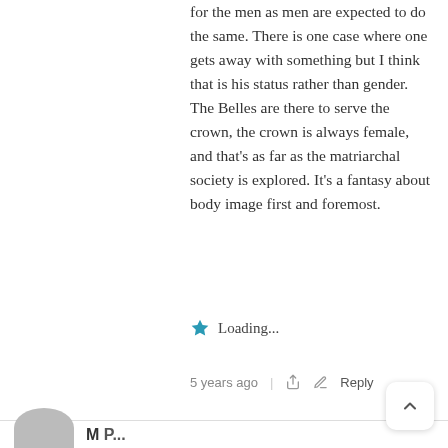for the men as men are expected to do the same. There is one case where one gets away with something but I think that is his status rather than gender. The Belles are there to serve the crown, the crown is always female, and that's as far as the matriarchal society is explored. It's a fantasy about body image first and foremost.
★ Loading...
5 years ago  |  Reply